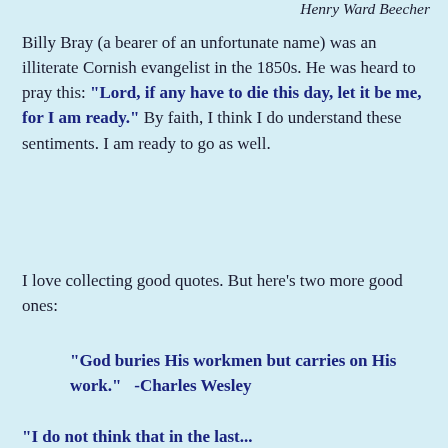Henry Ward Beecher
Billy Bray (a bearer of an unfortunate name) was an illiterate Cornish evangelist in the 1850s. He was heard to pray this: “Lord, if any have to die this day, let it be me, for I am ready.” By faith, I think I do understand these sentiments. I am ready to go as well.
I love collecting good quotes. But here’s two more good ones:
“God buries His workmen but carries on His work.”   -Charles Wesley
“I do not think that in the last...